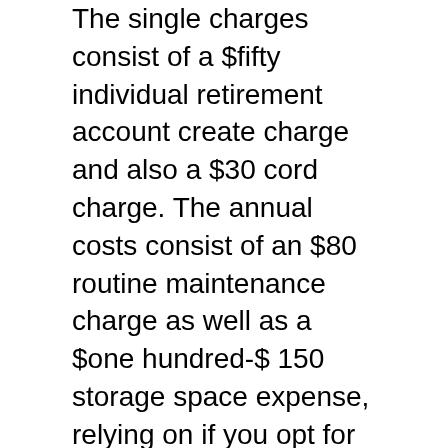The single charges consist of a $fifty individual retirement account create charge and also a $30 cord charge. The annual costs consist of an $80 routine maintenance charge as well as a $one hundred-$ 150 storage space expense, relying on if you opt for non-segregated or segregated storage.
There are actually three storage space alternatives: DDSC non-segregated storage for $100, Brinks Sodium Pond Metropolitan area non-segregated storing for $one hundred, as well as IDS Texas isolated storage space for $150.
Nonetheless, if you make a first financial investment of $50,000 or even additional, the fees will certainly be waived for the very